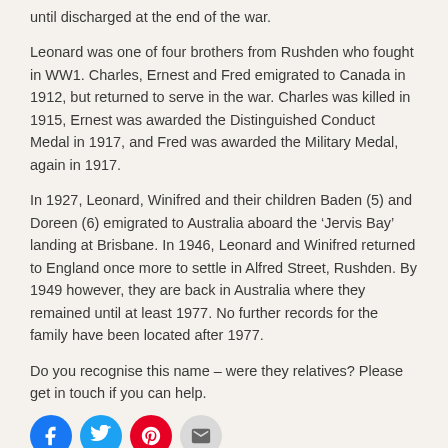until discharged at the end of the war.
Leonard was one of four brothers from Rushden who fought in WW1.  Charles, Ernest and Fred emigrated to Canada in 1912, but returned to serve in the war.  Charles was killed in 1915, Ernest was awarded the Distinguished Conduct Medal in 1917, and Fred was awarded the Military Medal, again in 1917.
In 1927, Leonard, Winifred and their children Baden (5) and Doreen (6) emigrated to Australia aboard the ‘Jervis Bay’ landing at Brisbane.  In 1946, Leonard and Winifred returned to England once more to settle in Alfred Street, Rushden.  By 1949 however, they are back in Australia where they remained until at least 1977.  No further records for the family have been located after 1977.
Do you recognise this name – were they relatives? Please get in touch if you can help.
[Figure (other): Social sharing icons: Facebook (blue circle), Twitter (blue circle), Pinterest (red circle), Email (grey circle)]